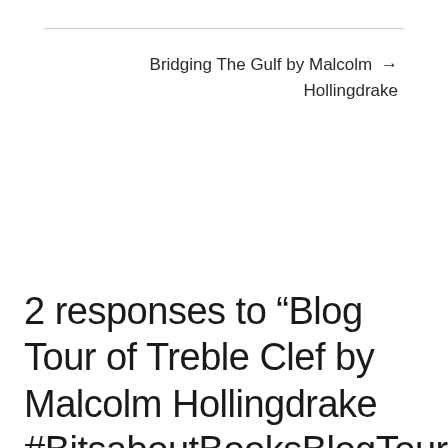Bridging The Gulf by Malcolm Hollingdrake →
2 responses to “Blog Tour of Treble Clef by Malcolm Hollingdrake #BitsaboutBooksBlogTour”